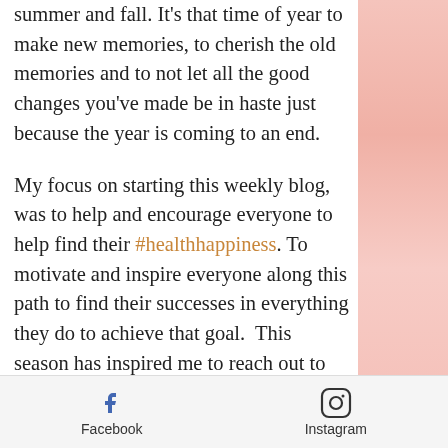summer and fall. It's that time of year to make new memories, to cherish the old memories and to not let all the good changes you've made be in haste just because the year is coming to an end.
My focus on starting this weekly blog, was to help and encourage everyone to help find their #healthhappiness. To motivate and inspire everyone along this path to find their successes in everything they do to achieve that goal.  This season has inspired me to reach out to do so much more, along with staying focused on my own path towards
Facebook   Instagram